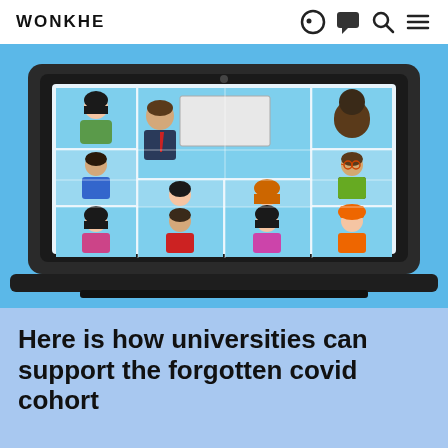WONKHE
[Figure (illustration): Illustration of a video conference call shown on a laptop screen. The laptop has a dark frame on a light blue background. The screen shows a grid of video tiles: a presenter in a suit at center-top with a whiteboard behind them, surrounded by 10 other participants including diverse individuals of various ages and appearances.]
Here is how universities can support the forgotten covid cohort